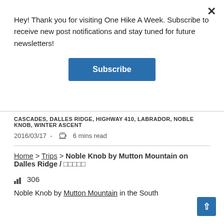Hey! Thank you for visiting One Hike A Week. Subscribe to receive new post notifications and stay tuned for future newsletters!
Subscribe
CASCADES, DALLES RIDGE, HIGHWAY 410, LABRADOR, NOBLE KNOB, WINTER ASCENT
2016/03/17  -  ☕  6 mins read
Home > Trips > Noble Knob by Mutton Mountain on Dalles Ridge / □□□□□
📊 306
Noble Knob by Mutton Mountain in the South